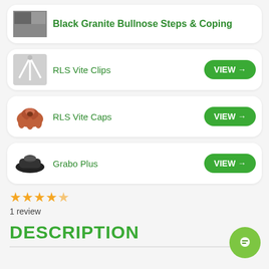Black Granite Bullnose Steps & Coping
RLS Vite Clips
RLS Vite Caps
Grabo Plus
1 review
DESCRIPTION